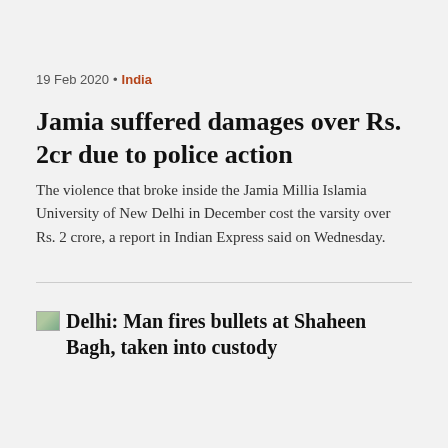19 Feb 2020 • India
Jamia suffered damages over Rs. 2cr due to police action
The violence that broke inside the Jamia Millia Islamia University of New Delhi in December cost the varsity over Rs. 2 crore, a report in Indian Express said on Wednesday.
Delhi: Man fires bullets at Shaheen Bagh, taken into custody